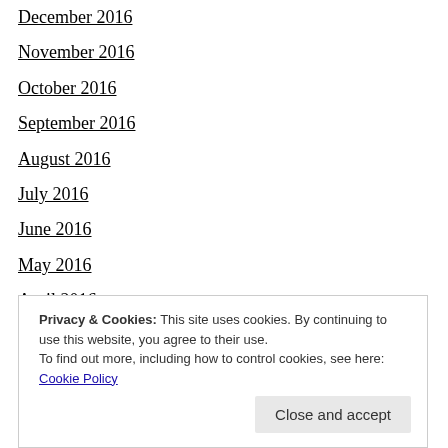December 2016
November 2016
October 2016
September 2016
August 2016
July 2016
June 2016
May 2016
April 2016
March 2016
January 2016
Privacy & Cookies: This site uses cookies. By continuing to use this website, you agree to their use.
To find out more, including how to control cookies, see here: Cookie Policy
May 2015